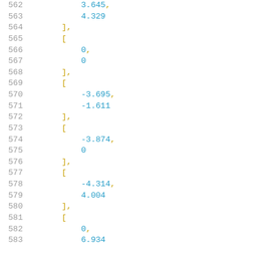Code listing lines 562-583 showing array data with line numbers and numeric values: 3.645, 4.329, ], [, 0, 0, ], [, -3.695, -1.611, ], [, -3.874, 0, ], [, -4.314, 4.004, ], [, 0, 6.934